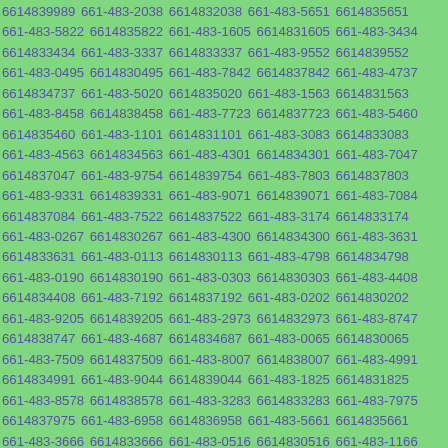6614839989 661-483-2038 6614832038 661-483-5651 6614835651 661-483-5822 6614835822 661-483-1605 6614831605 661-483-3434 6614833434 661-483-3337 6614833337 661-483-9552 6614839552 661-483-0495 6614830495 661-483-7842 6614837842 661-483-4737 6614834737 661-483-5020 6614835020 661-483-1563 6614831563 661-483-8458 6614838458 661-483-7723 6614837723 661-483-5460 6614835460 661-483-1101 6614831101 661-483-3083 6614833083 661-483-4563 6614834563 661-483-4301 6614834301 661-483-7047 6614837047 661-483-9754 6614839754 661-483-7803 6614837803 661-483-9331 6614839331 661-483-9071 6614839071 661-483-7084 6614837084 661-483-7522 6614837522 661-483-3174 6614833174 661-483-0267 6614830267 661-483-4300 6614834300 661-483-3631 6614833631 661-483-0113 6614830113 661-483-4798 6614834798 661-483-0190 6614830190 661-483-0303 6614830303 661-483-4408 6614834408 661-483-7192 6614837192 661-483-0202 6614830202 661-483-9205 6614839205 661-483-2973 6614832973 661-483-8747 6614838747 661-483-4687 6614834687 661-483-0065 6614830065 661-483-7509 6614837509 661-483-8007 6614838007 661-483-4991 6614834991 661-483-9044 6614839044 661-483-1825 6614831825 661-483-8578 6614838578 661-483-3283 6614833283 661-483-7975 6614837975 661-483-6958 6614836958 661-483-5661 6614835661 661-483-3666 6614833666 661-483-0516 6614830516 661-483-1166 6614831166 661-483-8689 6614838689 661-483-8696 6614838696 661-483-4168 6614834168 661-483-7680 6614837680 661-483-5874 6614835874 661-483-6791 6614836791 661-483-5773 6614835773